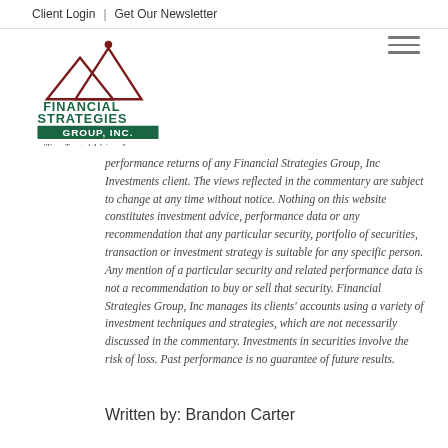Client Login | Get Our Newsletter
[Figure (logo): Financial Strategies Group, Inc. logo with mountain illustration and tagline Your Trusted Advisors]
performance returns of any Financial Strategies Group, Inc Investments client. The views reflected in the commentary are subject to change at any time without notice. Nothing on this website constitutes investment advice, performance data or any recommendation that any particular security, portfolio of securities, transaction or investment strategy is suitable for any specific person. Any mention of a particular security and related performance data is not a recommendation to buy or sell that security. Financial Strategies Group, Inc manages its clients' accounts using a variety of investment techniques and strategies, which are not necessarily discussed in the commentary. Investments in securities involve the risk of loss. Past performance is no guarantee of future results.
Written by: Brandon Carter